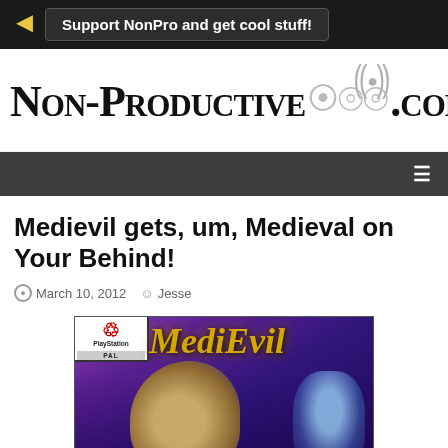Support NonPro and get cool stuff!
[Figure (logo): Non-Productive.com website logo with radio signal icon]
Medievil gets, um, Medieval on Your Behind!
March 10, 2012  Jesse
[Figure (photo): MediEvil PlayStation game cover art showing the game title in gold letters on a purple background with character artwork including a skull knight and a ghost]